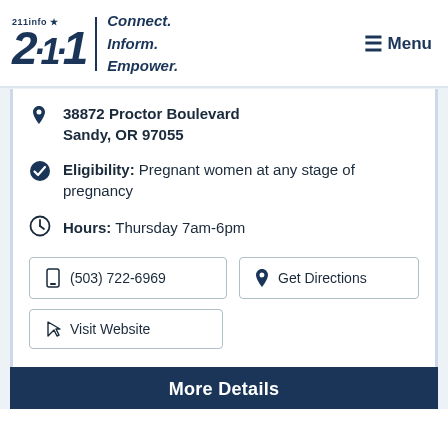[Figure (logo): 211info logo with tagline Connect. Inform. Empower. and hamburger Menu button]
38872 Proctor Boulevard Sandy, OR 97055
Eligibility: Pregnant women at any stage of pregnancy
Hours: Thursday 7am-6pm
(503) 722-6969
Get Directions
Visit Website
More Details